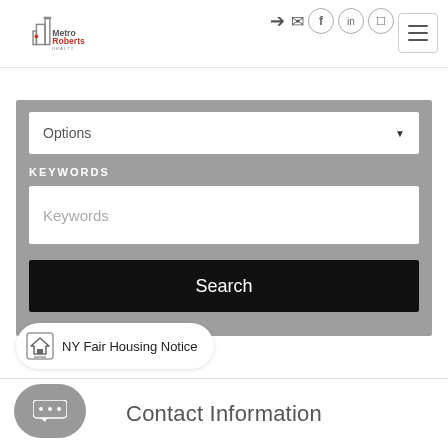[Figure (logo): MetroRoberts Realty logo with building icon]
Options
KEYWORDS
Keywords
Search
NY Fair Housing Notice
Contact Information